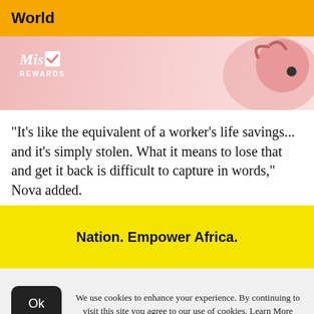World
[Figure (illustration): Pink advertisement banner for 'Mist Rewards' with a stylized pig illustration on a pink/rose gradient background.]
"It's like the equivalent of a worker's life savings... and it's simply stolen. What it means to lose that and get it back is difficult to capture in words," Nova added.
[Figure (logo): Nation. Empower Africa. promotional banner in yellow background with bold black text.]
We use cookies to enhance your experience. By continuing to visit this site you agree to our use of cookies. Learn More